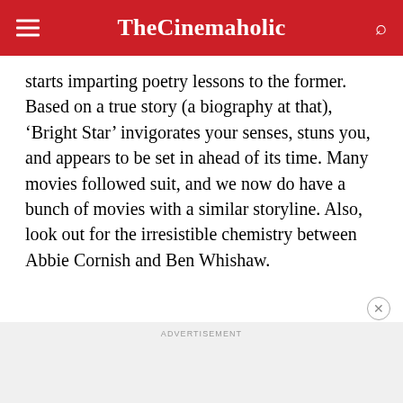TheCinemaholic
starts imparting poetry lessons to the former. Based on a true story (a biography at that), ‘Bright Star’ invigorates your senses, stuns you, and appears to be set in ahead of its time. Many movies followed suit, and we now do have a bunch of movies with a similar storyline. Also, look out for the irresistible chemistry between Abbie Cornish and Ben Whishaw.
ADVERTISEMENT